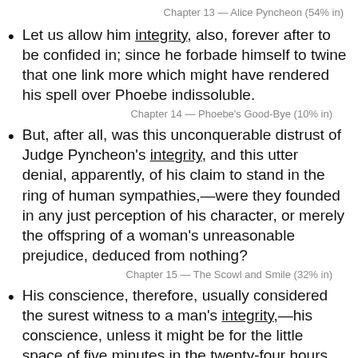Chapter 13 — Alice Pyncheon (54% in)
Let us allow him integrity, also, forever after to be confided in; since he forbade himself to twine that one link more which might have rendered his spell over Phoebe indissoluble.
Chapter 14 — Phoebe's Good-Bye (10% in)
But, after all, was this unconquerable distrust of Judge Pyncheon's integrity, and this utter denial, apparently, of his claim to stand in the ring of human sympathies,—were they founded in any just perception of his character, or merely the offspring of a woman's unreasonable prejudice, deduced from nothing?
Chapter 15 — The Scowl and Smile (32% in)
His conscience, therefore, usually considered the surest witness to a man's integrity,—his conscience, unless it might be for the little space of five minutes in the twenty-four hours, or, now and then, some black day in the whole year's